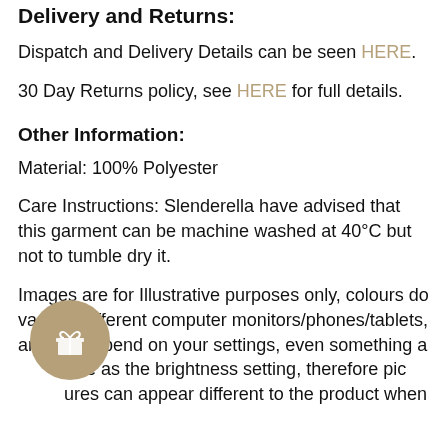Delivery and Returns:
Dispatch and Delivery Details can be seen HERE.
30 Day Returns policy, see HERE for full details.
Other Information:
Material: 100% Polyester
Care Instructions: Slenderella have advised that this garment can be machine washed at 40°C but not to tumble dry it.
Images are for Illustrative purposes only, colours do vary on different computer monitors/phones/tablets, and will depend on your settings, even something as the brightness setting, therefore pictures can appear different to the product when